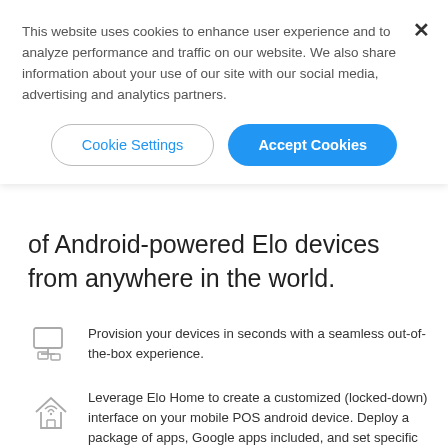This website uses cookies to enhance user experience and to analyze performance and traffic on our website. We also share information about your use of our site with our social media, advertising and analytics partners.
Cookie Settings
Accept Cookies
of Android-powered Elo devices from anywhere in the world.
Provision your devices in seconds with a seamless out-of-the-box experience.
Leverage Elo Home to create a customized (locked-down) interface on your mobile POS android device. Deploy a package of apps, Google apps included, and set specific apps available to admins only.
Manage battery life with ease – view up-to-date battery statistics directly on the device or manage your entire fleet directly from FloView